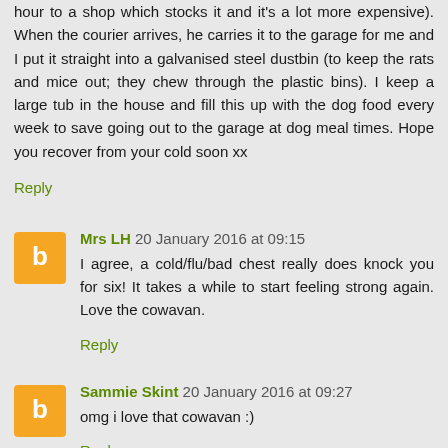hour to a shop which stocks it and it's a lot more expensive). When the courier arrives, he carries it to the garage for me and I put it straight into a galvanised steel dustbin (to keep the rats and mice out; they chew through the plastic bins). I keep a large tub in the house and fill this up with the dog food every week to save going out to the garage at dog meal times. Hope you recover from your cold soon xx
Reply
Mrs LH 20 January 2016 at 09:15
I agree, a cold/flu/bad chest really does knock you for six! It takes a while to start feeling strong again. Love the cowavan.
Reply
Sammie Skint 20 January 2016 at 09:27
omg i love that cowavan :)
Reply